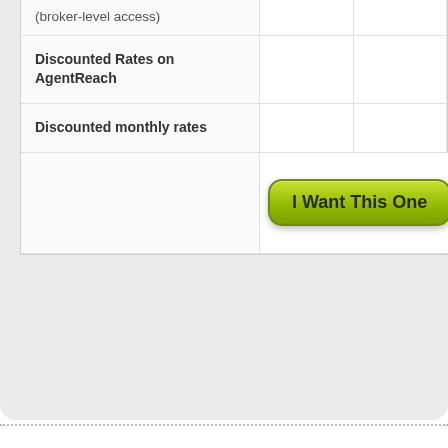| Feature | Plan 1 | Plan 2 |
| --- | --- | --- |
| (broker-level access) |  |  |
| Discounted Rates on AgentReach |  |  |
| Discounted monthly rates |  |  |
|  | I Want This One | I W... |
What Our C...
[Figure (photo): Partial testimonial card with photo, cropped on right side]
Couldn't load plugin.